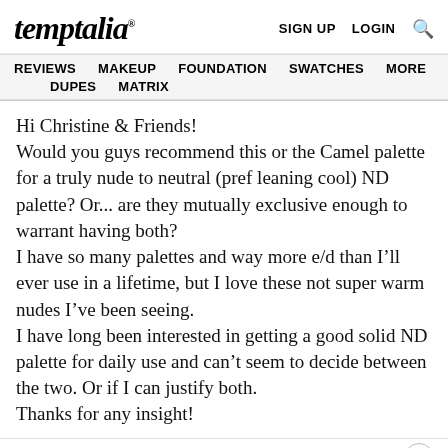temptalia® | SIGN UP  LOGIN  🔍
REVIEWS  MAKEUP  FOUNDATION  SWATCHES  MORE  DUPES  MATRIX
Hi Christine & Friends!
Would you guys recommend this or the Camel palette for a truly nude to neutral (pref leaning cool) ND palette? Or… are they mutually exclusive enough to warrant having both?
I have so many palettes and way more e/d than I'll ever use in a lifetime, but I love these not super warm nudes I've been seeing.
I have long been interested in getting a good solid ND palette for daily use and can't seem to decide between the two. Or if I can justify both.
Thanks for any insight!
12/31/19